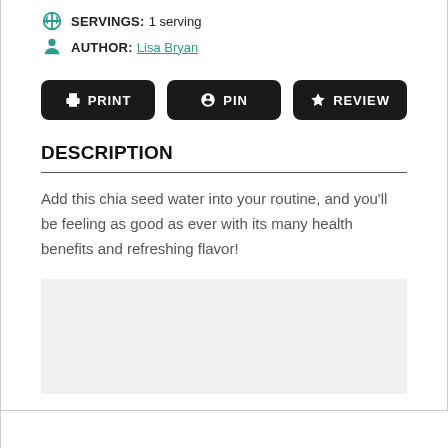SERVINGS: 1 serving
AUTHOR: Lisa Bryan
[Figure (other): Three black buttons: PRINT, PIN, REVIEW]
DESCRIPTION
Add this chia seed water into your routine, and you'll be feeling as good as ever with its many health benefits and refreshing flavor!
[Figure (other): Gray advertisement placeholder box]